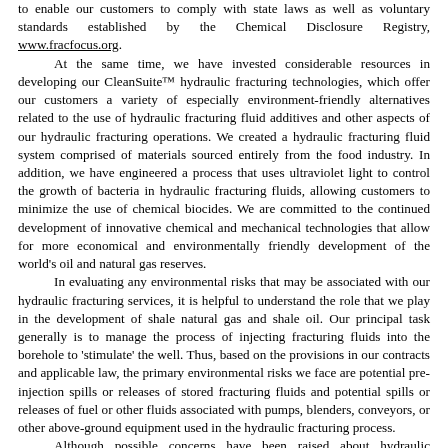to enable our customers to comply with state laws as well as voluntary standards established by the Chemical Disclosure Registry, www.fracfocus.org. At the same time, we have invested considerable resources in developing our CleanSuite™ hydraulic fracturing technologies, which offer our customers a variety of especially environment-friendly alternatives related to the use of hydraulic fracturing fluid additives and other aspects of our hydraulic fracturing operations. We created a hydraulic fracturing fluid system comprised of materials sourced entirely from the food industry. In addition, we have engineered a process that uses ultraviolet light to control the growth of bacteria in hydraulic fracturing fluids, allowing customers to minimize the use of chemical biocides. We are committed to the continued development of innovative chemical and mechanical technologies that allow for more economical and environmentally friendly development of the world's oil and natural gas reserves. In evaluating any environmental risks that may be associated with our hydraulic fracturing services, it is helpful to understand the role that we play in the development of shale natural gas and shale oil. Our principal task generally is to manage the process of injecting fracturing fluids into the borehole to 'stimulate' the well. Thus, based on the provisions in our contracts and applicable law, the primary environmental risks we face are potential pre-injection spills or releases of stored fracturing fluids and potential spills or releases of fuel or other fluids associated with pumps, blenders, conveyors, or other above-ground equipment used in the hydraulic fracturing process. Although possible concerns have been raised about hydraulic fracturing operations, the circumstances described above have helped to mitigate those concerns. To date, we have not been obligated to compensate any indemnified party for any environmental liability arising directly from hydraulic fracturing, although there can be no assurance that such obligations or liabilities will not arise in the future.